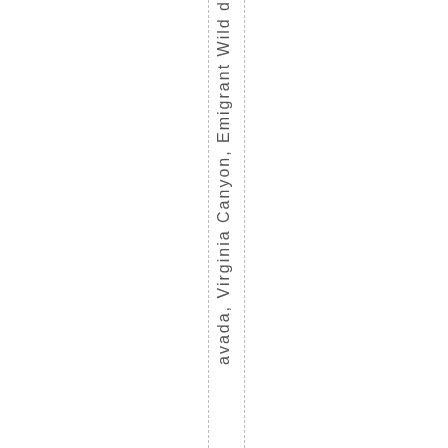avada, Virginia Canyon, Emigrant Wild d